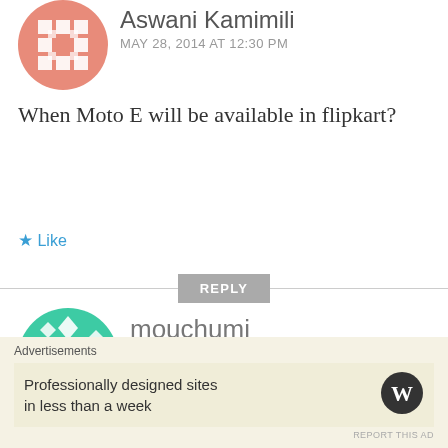[Figure (illustration): Coral/salmon colored circular avatar with geometric grid/hashtag pattern for user Aswani Kamimili]
Aswani Kamimili
MAY 28, 2014 AT 12:30 PM
When Moto E will be available in flipkart?
★ Like
REPLY
[Figure (illustration): Teal/green circular avatar with geometric snowflake/diamond pattern for user mouchumi]
mouchumi
MAY 28, 2014 AT 1:20 PM
When Moto E will be available
Advertisements
Professionally designed sites in less than a week
[Figure (logo): WordPress logo - W in a circle]